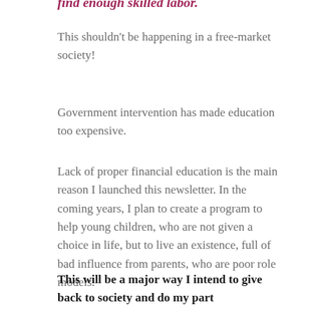find enough skilled labor.
This shouldn't be happening in a free-market society!
Government intervention has made education too expensive.
Lack of proper financial education is the main reason I launched this newsletter. In the coming years, I plan to create a program to help young children, who are not given a choice in life, but to live an existence, full of bad influence from parents, who are poor role models.
This will be a major way I intend to give back to society and do my part